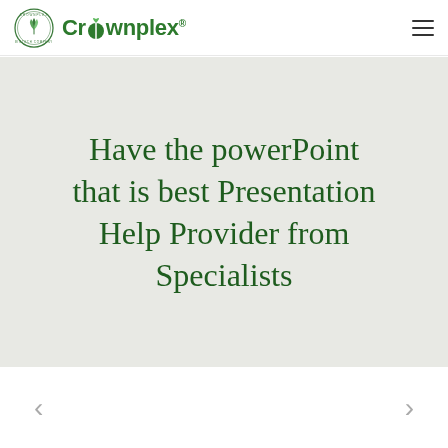[Figure (logo): Crownplex logo with circular emblem featuring a plant/leaf motif and the text Crownplex in green]
Have the powerPoint that is best Presentation Help Provider from Specialists
[Figure (other): Left navigation arrow (previous slide)]
[Figure (other): Right navigation arrow (next slide)]